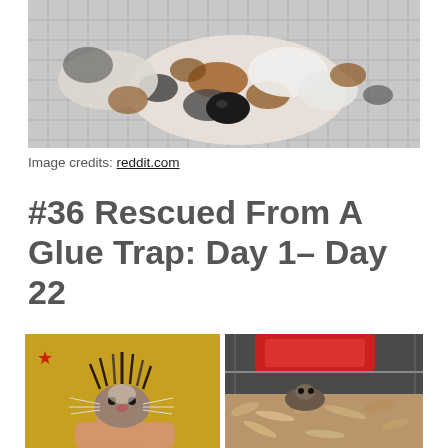[Figure (photo): Close-up photo of a dalmatian or spotted dog lying on a gray checkered blanket, showing its nose and face with white, gray, and brown spots.]
Image credits: reddit.com
#36 Rescued From A Glue Trap: Day 1– Day 22
[Figure (photo): Two side-by-side photos: left shows a small animal (likely a mouse or rat) with spiky matted fur against a yellow background being held in someone's hand; right shows a small animal in wood shavings/bedding with a red container visible above.]